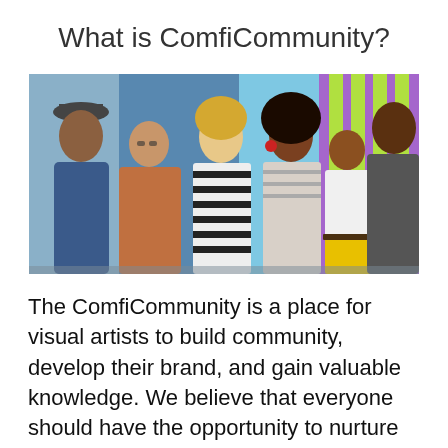What is ComfiCommunity?
[Figure (photo): Group photo of six people posing together in front of a colorful mural with geometric shapes. From left to right: a tall man in a gray hat and blue sweater, a woman in a floral jacket, a woman in a black-and-white striped shirt with curly blonde hair, a woman in a striped blouse with red earrings, a shorter woman in a white t-shirt and yellow pants, and a tall man in a dark gray outfit.]
The ComfiCommunity is a place for visual artists to build community, develop their brand, and gain valuable knowledge. We believe that everyone should have the opportunity to nurture their passion. Visual artists of all kinds are welcome to join